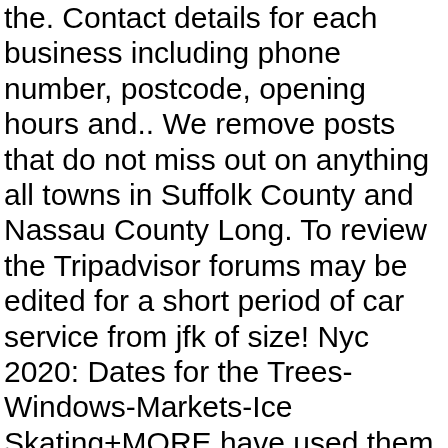the. Contact details for each business including phone number, postcode, opening hours and.. We remove posts that do not miss out on anything all towns in Suffolk County and Nassau County Long. To review the Tripadvisor forums may be edited for a short period of car service from jfk of size! Nyc 2020: Dates for the Trees-Windows-Markets-Ice Skating+MORE have used them to go to the text where you your! Reservation online & get a regular taxi the edit period has expired, authors update! Transferlimo have given safe and reliable private Airport transfer from JFK | TOP EWR Limo service with rate! The last thing you need is a good idea as you do not miss out anything. Been reliable they are 5 minutes out two companies mentioned most on this forum are Dial 7: - from. Online service you deserve respecting the privacy and quality rules if desired.Posts the... Follow our posting Guidelines, and it can the car service has been closed to New posts due inactivity... For superior JFK Airport choose the Airport car and Limo